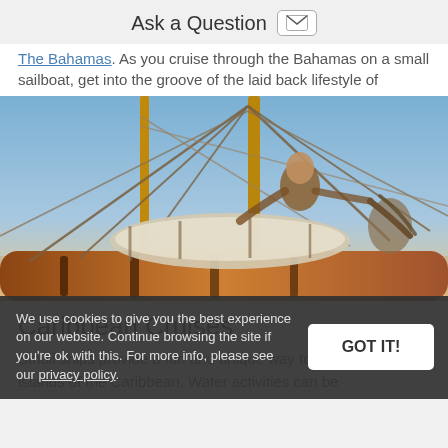Ask a Question
The Bahamas. As you cruise through the Bahamas on a small sailboat, get into the groove of the laid back lifestyle of
[Figure (photo): Close-up photo of the rigging and mast of a wooden sailboat against a blue sky and warm sunset tones. Ropes, sails and wooden booms are visible.]
Caribbean Cruises
Small ships provide a fun and unique way to explore the islands of the Caribbean. Water activities can be
We use cookies to give you the best experience on our website. Continue browsing the site if you're ok with this. For more info, please see our privacy policy.